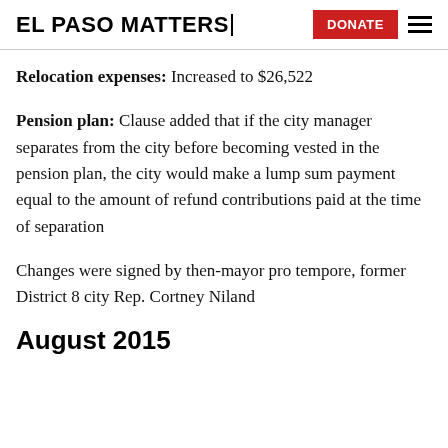EL PASO MATTERS
Relocation expenses: Increased to $26,522
Pension plan: Clause added that if the city manager separates from the city before becoming vested in the pension plan, the city would make a lump sum payment equal to the amount of refund contributions paid at the time of separation
Changes were signed by then-mayor pro tempore, former District 8 city Rep. Cortney Niland
August 2015